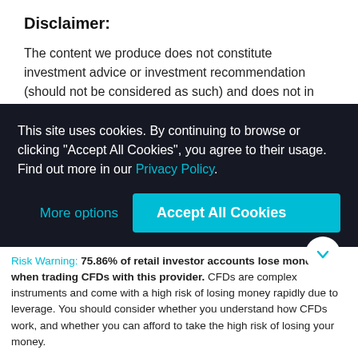Disclaimer:
The content we produce does not constitute investment advice or investment recommendation (should not be considered as such) and does not in any way constitute
This site uses cookies. By continuing to browse or clicking “Accept All Cookies”, you agree to their usage. Find out more in our Privacy Policy.
More options
Accept All Cookies
Risk Warning: 75.86% of retail investor accounts lose money when trading CFDs with this provider. CFDs are complex instruments and come with a high risk of losing money rapidly due to leverage. You should consider whether you understand how CFDs work, and whether you can afford to take the high risk of losing your money.